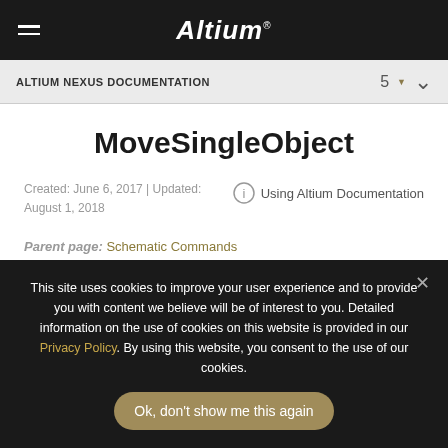Altium® — ALTIUM NEXUS DOCUMENTATION  5
MoveSingleObject
Created: June 6, 2017 | Updated: August 1, 2018
Using Altium Documentation
Parent page: Schematic Commands
This site uses cookies to improve your user experience and to provide you with content we believe will be of interest to you. Detailed information on the use of cookies on this website is provided in our Privacy Policy. By using this website, you consent to the use of our cookies.
Ok, don't show me this again